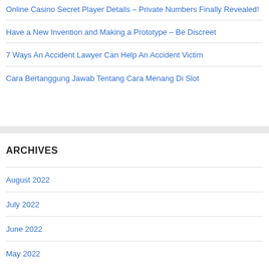Online Casino Secret Player Details – Private Numbers Finally Revealed!
Have a New Invention and Making a Prototype – Be Discreet
7 Ways An Accident Lawyer Can Help An Accident Victim
Cara Bertanggung Jawab Tentang Cara Menang Di Slot
ARCHIVES
August 2022
July 2022
June 2022
May 2022